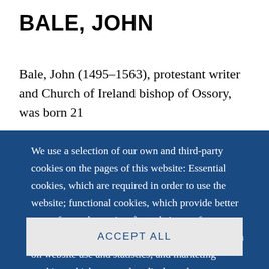BALE, JOHN
Bale, John (1495–1563), protestant writer and Church of Ireland bishop of Ossory, was born 21
We use a selection of our own and third-party cookies on the pages of this website: Essential cookies, which are required in order to use the website; functional cookies, which provide better easy of use when using the website; performance cookies, which we use to generate aggregated data on website use and statistics; and marketing cookies, which are used to display relevant content and advertising. If you choose "ACCEPT ALL", you consent to the use of all cookies. You can accept and
ACCEPT ALL